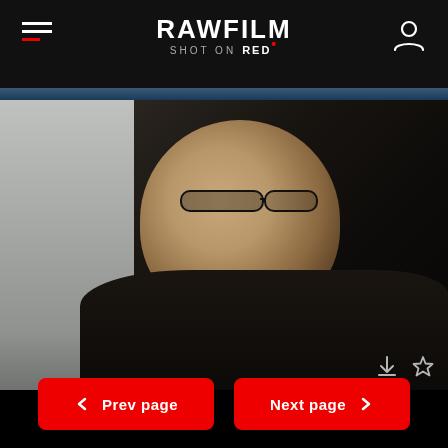RAWFILM — SHOT ON RED
[Figure (photo): Side profile close-up of a bald man wearing glasses and a dark jacket, looking downward, shot in cinematic style against a light/white background]
Prev page
Next page